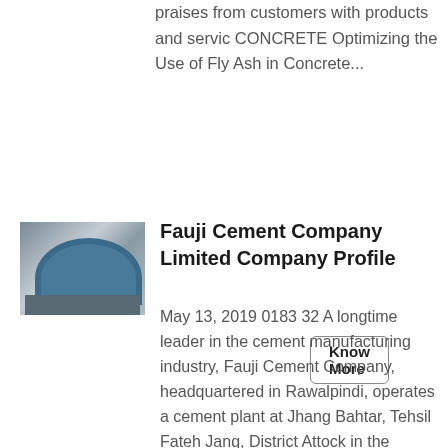praises from customers with products and servic CONCRETE Optimizing the Use of Fly Ash in Concrete...
Know More
[Figure (photo): Industrial cement machinery with blue dome/arc structure]
Fauji Cement Company Limited Company Profile
May 13, 2019 0183 32 A longtime leader in the cement manufacturing industry, Fauji Cement Company, headquartered in Rawalpindi, operates a cement plant at Jhang Bahtar, Tehsil Fateh Jang, District Attock in the province of Punjab The Company has a strong and longstanding tradition of service, reliability, and quality that reaches back more than 22 years...